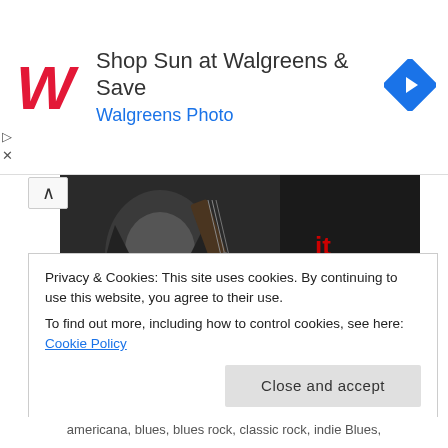[Figure (screenshot): Walgreens advertisement banner with red cursive W logo, text 'Shop Sun at Walgreens & Save' and 'Walgreens Photo' in blue, and a blue diamond navigation icon on the right.]
[Figure (photo): Rock musician with long hair playing guitar, with text overlay: 'it up! with Gerry Casey', '21:00 UHR (9PM CET)', 'WWW.HOME-OF-ROCK.DE', and cursive 'Home of' text at bottom. Background is dark/black and white with red accent bar.]
Privacy & Cookies: This site uses cookies. By continuing to use this website, you agree to their use.
To find out more, including how to control cookies, see here: Cookie Policy
Close and accept
americana, blues, blues rock, classic rock, indie Blues,